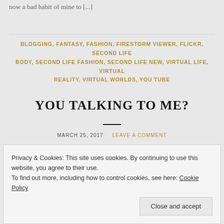now a bad habit of mine to [...]
BLOGGING, FANTASY, FASHION, FIRESTORM VIEWER, FLICKR, SECOND LIFE BODY, SECOND LIFE FASHION, SECOND LIFE NEW, VIRTUAL LIFE, VIRTUAL REALITY, VIRTUAL WORLDS, YOU TUBE
YOU TALKING TO ME?
MARCH 25, 2017   LEAVE A COMMENT
That's about as tough as my tough girl look can go. Last night in
Privacy & Cookies: This site uses cookies. By continuing to use this website, you agree to their use.
To find out more, including how to control cookies, see here: Cookie Policy
Close and accept